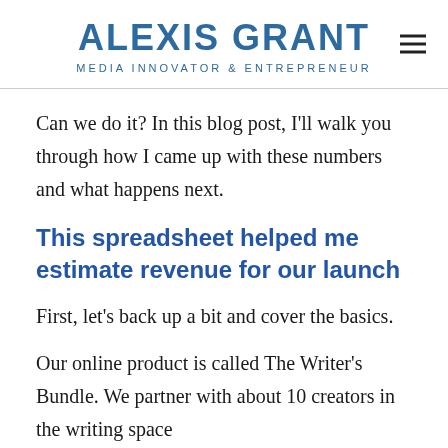ALEXIS GRANT
MEDIA INNOVATOR & ENTREPRENEUR
Can we do it? In this blog post, I'll walk you through how I came up with these numbers and what happens next.
This spreadsheet helped me estimate revenue for our launch
First, let's back up a bit and cover the basics.
Our online product is called The Writer's Bundle. We partner with about 10 creators in the writing space